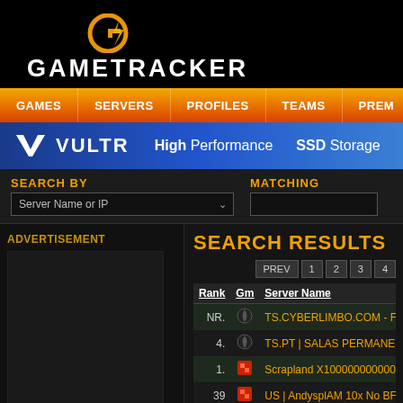[Figure (logo): GameTracker logo with stylized G icon in gold/orange and white GAMETRACKER text on black background]
GAMES | SERVERS | PROFILES | TEAMS | PREM
[Figure (infographic): Vultr advertisement banner: white V logo, VULTR text, High Performance SSD Storage on blue gradient background]
SEARCH BY: Server Name or IP   MATCHING:
ADVERTISEMENT
SEARCH RESULTS
PREV  1  2  3  4
| Rank | Gm | Server Name |
| --- | --- | --- |
| NR. | (icon) | TS.CYBERLIMBO.COM - FREE PE |
| 4. | (icon) | TS.PT | SALAS PERMANENTES C |
| 1. | (icon) | Scrapland X1000000000000000 [ Kits |
| 39 | (icon) | US | AndysplAM 10x No BF |